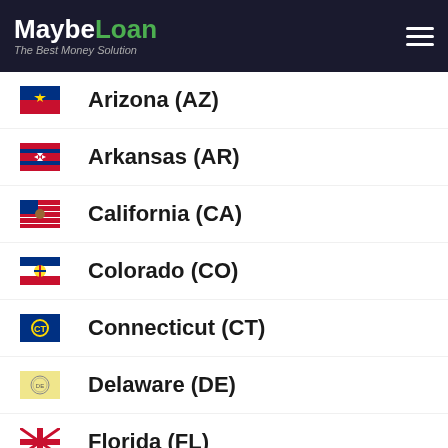MaybeLoan – The Best Money Solution
Arizona (AZ)
Arkansas (AR)
California (CA)
Colorado (CO)
Connecticut (CT)
Delaware (DE)
Florida (FL)
Georgia (GA)
Hawaii (HI)
Idaho (ID)
Illinois (IL)
Indiana (IN)
Iowa (IA)
Kansas (KS) [partial]